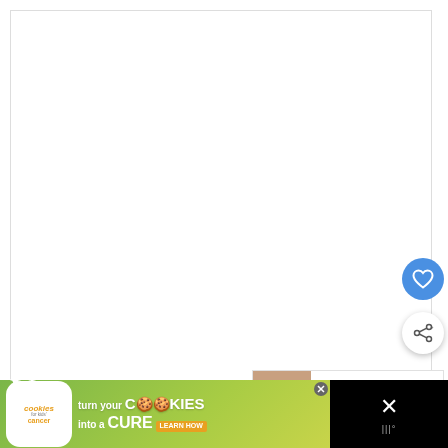[Figure (screenshot): White blank main content area of a video player or web page]
[Figure (other): Blue circular heart/favorite button with white heart icon]
[Figure (other): White circular share button with share icon]
[Figure (other): What's Next panel with thumbnail and text 'How to Bottle Feed A...']
[Figure (other): Advertisement banner: Cookies for Kids Cancer - turn your COOKIES into a CURE LEARN HOW]